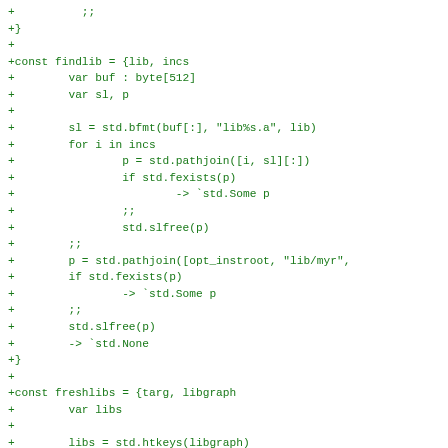+          ;;
+}
+
+const findlib = {lib, incs
+        var buf : byte[512]
+        var sl, p
+
+        sl = std.bfmt(buf[:], "lib%s.a", lib)
+        for i in incs
+                p = std.pathjoin([i, sl][:])
+                if std.fexists(p)
+                        -> `std.Some p
+                ;;
+                std.slfree(p)
+        ;;
+        p = std.pathjoin([opt_instroot, "lib/myr",
+        if std.fexists(p)
+                -> `std.Some p
+        ;;
+        std.slfree(p)
+        -> `std.None
+}
+
+const freshlibs = {targ, libgraph
+        var libs
+
+        libs = std.htkeys(libgraph)
+        for l in libs
+                match findlib(l, targ.incpath)
+                | `std.Some lib: